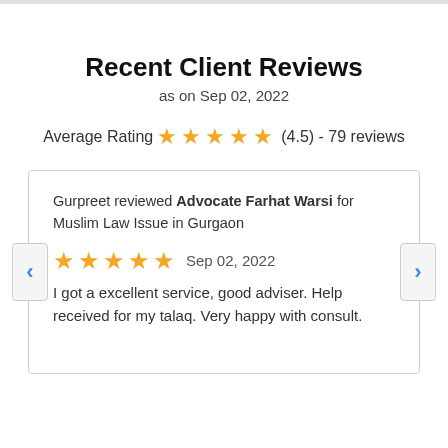Recent Client Reviews
as on Sep 02, 2022
Average Rating ★★★★★ (4.5) - 79 reviews
Gurpreet reviewed Advocate Farhat Warsi for Muslim Law Issue in Gurgaon
★★★★★ Sep 02, 2022
I got a excellent service, good adviser. Help received for my talaq. Very happy with consult.